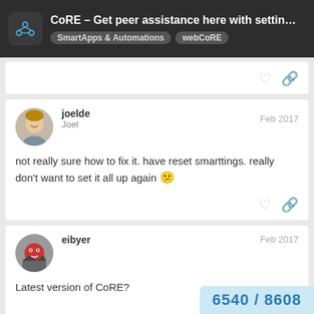CoRE – Get peer assistance here with settin… SmartApps & Automations  webCoRE
not really sure how to fix it. have reset smarttings. really don't want to set it all up again 😕
Latest version of CoRE?
6540 / 8608